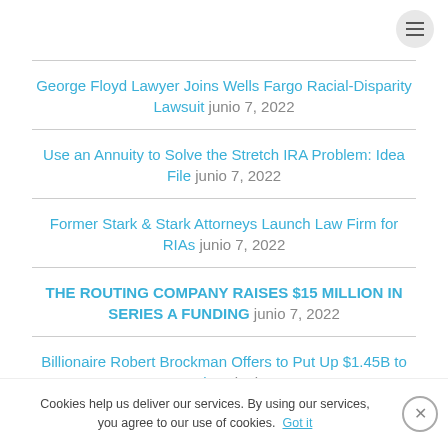George Floyd Lawyer Joins Wells Fargo Racial-Disparity Lawsuit junio 7, 2022
Use an Annuity to Solve the Stretch IRA Problem: Idea File junio 7, 2022
Former Stark & Stark Attorneys Launch Law Firm for RIAs junio 7, 2022
THE ROUTING COMPANY RAISES $15 MILLION IN SERIES A FUNDING junio 7, 2022
Billionaire Robert Brockman Offers to Put Up $1.45B to Ease IRS Liens junio 7, 2022
The Advocate General's opinion in the Fiat appeal: a plea
Cookies help us deliver our services. By using our services, you agree to our use of cookies. Got it